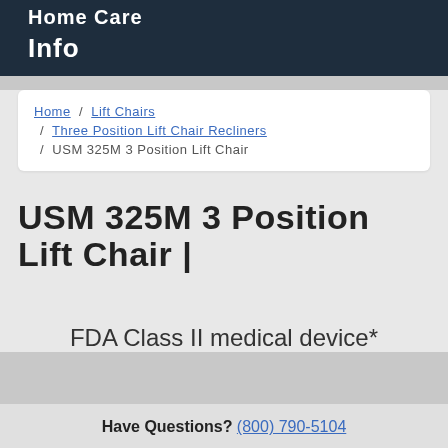Home Care
Info
Home / Lift Chairs / Three Position Lift Chair Recliners / USM 325M 3 Position Lift Chair
USM 325M 3 Position Lift Chair |
FDA Class II medical device*
Have Questions? (800) 790-5104